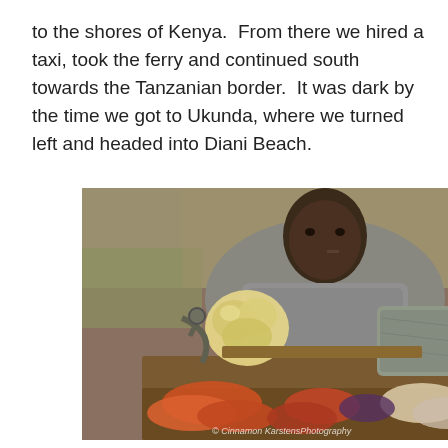to the shores of Kenya.  From there we hired a taxi, took the ferry and continued south towards the Tanzanian border.  It was dark by the time we got to Ukunda, where we turned left and headed into Diani Beach.
[Figure (photo): A man sitting behind a market stall or cart displaying vegetables and produce in plastic bags, including carrots and onions. He is wearing a grey long-sleeve shirt and appears to be outdoors with trees in the background. A watermark reads '© Cinnamon KarstensPhotography'.]